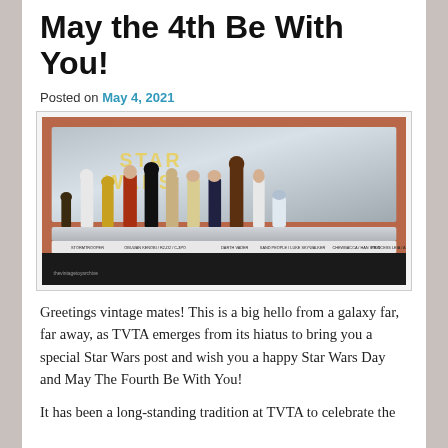May the 4th Be With You!
Posted on May 4, 2021
[Figure (photo): A display of Star Wars vintage action figures on a metallic stand with character name labels, photographed against a reddish-brown wall background. Multiple figures including Stormtrooper, C-3PO, Darth Vader, Luke Skywalker, Han Solo, Princess Leia, R2-D2 and others are shown.]
Greetings vintage mates! This is a big hello from a galaxy far, far away, as TVTA emerges from its hiatus to bring you a special Star Wars post and wish you a happy Star Wars Day and May The Fourth Be With You!
It has been a long-standing tradition at TVTA to celebrate the